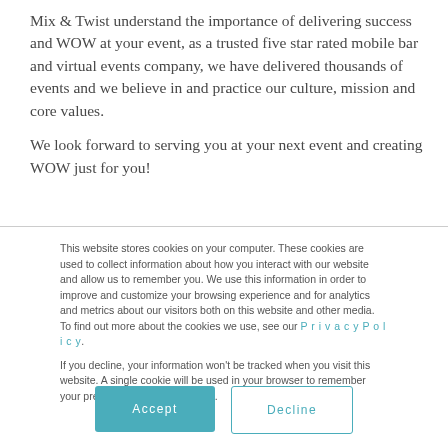Mix & Twist understand the importance of delivering success and WOW at your event, as a trusted five star rated mobile bar and virtual events company, we have delivered thousands of events and we believe in and practice our culture, mission and core values.

We look forward to serving you at your next event and creating WOW just for you!
This website stores cookies on your computer. These cookies are used to collect information about how you interact with our website and allow us to remember you. We use this information in order to improve and customize your browsing experience and for analytics and metrics about our visitors both on this website and other media. To find out more about the cookies we use, see our Privacy Policy.

If you decline, your information won't be tracked when you visit this website. A single cookie will be used in your browser to remember your preference not to be tracked.